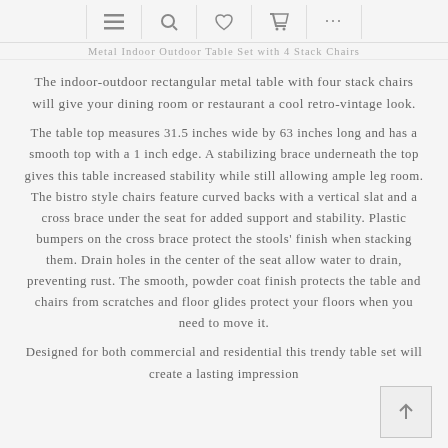≡  🔍  ♥  🛒  ...
Metal Indoor Outdoor Table Set with 4 Stack Chairs
The indoor-outdoor rectangular metal table with four stack chairs will give your dining room or restaurant a cool retro-vintage look.
The table top measures 31.5 inches wide by 63 inches long and has a smooth top with a 1 inch edge. A stabilizing brace underneath the top gives this table increased stability while still allowing ample leg room. The bistro style chairs feature curved backs with a vertical slat and a cross brace under the seat for added support and stability. Plastic bumpers on the cross brace protect the stools' finish when stacking them. Drain holes in the center of the seat allow water to drain, preventing rust. The smooth, powder coat finish protects the table and chairs from scratches and floor glides protect your floors when you need to move it.
Designed for both commercial and residential this trendy table set will create a lasting impression